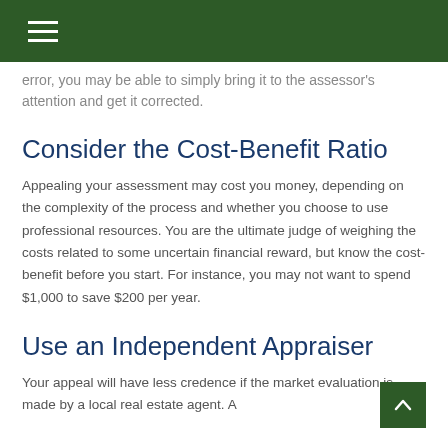error, you may be able to simply bring it to the assessor's attention and get it corrected.
Consider the Cost-Benefit Ratio
Appealing your assessment may cost you money, depending on the complexity of the process and whether you choose to use professional resources. You are the ultimate judge of weighing the costs related to some uncertain financial reward, but know the cost-benefit before you start. For instance, you may not want to spend $1,000 to save $200 per year.
Use an Independent Appraiser
Your appeal will have less credence if the market evaluation is made by a local real estate agent. A